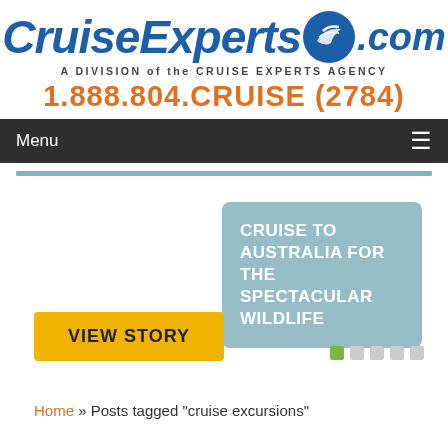[Figure (logo): CruiseExperts.com logo with blue italic text and circular ship emblem]
A DIVISION of the CRUISE EXPERTS AGENCY
1.888.804.CRUISE (2784)
Menu ≡
[Figure (infographic): Teal rounded rectangle card with text: CRUISE TO AUSTRALIA FOR THE SPECTACULAR WILDLIFE]
[Figure (other): Yellow button: VIEW STORY]
[Figure (other): Pagination dots: one green active square and four grey squares]
Home » Posts tagged "cruise excursions"